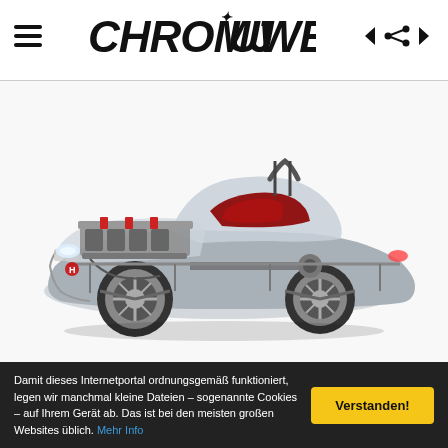Chromjuwelen
[Figure (illustration): Cutaway/transparent technical illustration of a Honda S2000 sports car showing engine, drivetrain, interior components and chassis in silver/red color scheme]
Damit dieses Internetportal ordnungsgemäß funktioniert, legen wir manchmal kleine Dateien – sogenannte Cookies – auf Ihrem Gerät ab. Das ist bei den meisten großen Websites üblich. Mehr Info